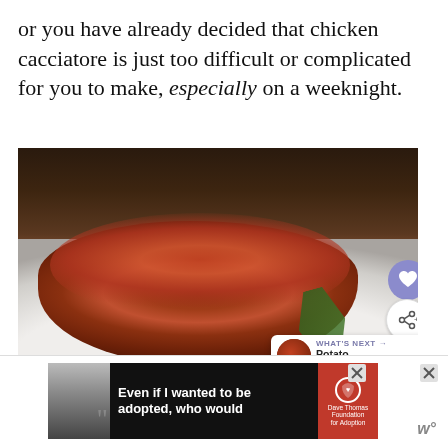or you have already decided that chicken cacciatore is just too difficult or complicated for you to make, especially on a weeknight.
[Figure (photo): Plate of chicken cacciatore with tomato sauce and rosemary garnish on a white plate, with a dark wine bottle/glass in the background. Overlaid UI elements: heart button, share button, and 'What's Next' thumbnail showing Potato gnocchi.]
[Figure (photo): Advertisement banner: black background with image of woman, large quotation mark, bold white text reading 'Even if I wanted to be adopted, who would', Dave Thomas Foundation for Adoption logo in red.]